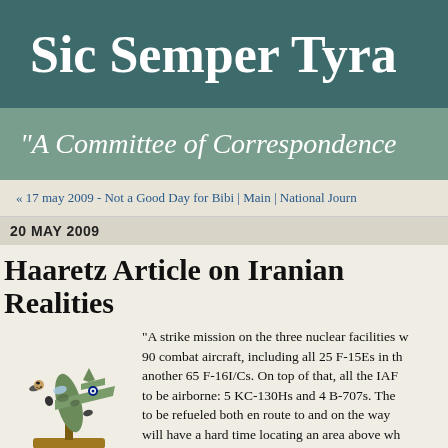Sic Semper Tyra
"A Committee of Correspondence
« 17 may 2009 - Not a Good Day for Bibi | Main | National Journ
20 MAY 2009
Haaretz Article on Iranian Realities
[Figure (illustration): Illustration of a military jet aircraft model on a wooden stand, shown in profile view with camouflage coloring]
"A strike mission on the three nuclear facilities w... 90 combat aircraft, including all 25 F-15Es in th... another 65 F-16I/Cs. On top of that, all the IAF... to be airborne: 5 KC-130Hs and 4 B-707s. The... to be refueled both en route to and on the way... will have a hard time locating an area above wh...